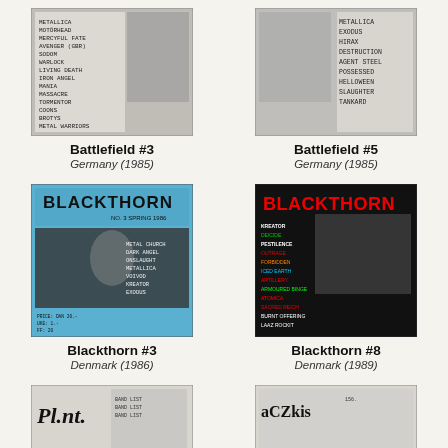[Figure (photo): Cover of Battlefield #3 zine from Germany, black and white, showing a list of band names including Metallica, Motörhead, Mercyful Fate, Avenger, Sodom, Warlock, Living Death, Iron Angel, Mania, Massacre, Tormentor, Coons, Brotys, Metal Warriors]
Battlefield #3
Germany (1985)
[Figure (photo): Cover of Battlefield #5 zine from Germany, black and white, showing band names: Metallica, Exodus, Hirax, Destruction, Agent Steel, Possessed, Helloween, Slaughter, Tankard]
Battlefield #5
Germany (1985)
[Figure (photo): Cover of Blackthorn #3 zine from Denmark, blue background with gothic Blackthorn logo, photo of guitarist, listing Metal Church, Dark Angel, Onslaught, Metallica, Voivod, Kreator, Exodus]
Blackthorn #3
Denmark (1986)
[Figure (photo): Cover of Blackthorn #8 zine from Denmark, black background with red and white Blackthorn logo, colorful band list: Kreator, Deicide, Pestilence, Outrage, Forbidden, Iced Earth, Artillery, Armour And Binge, Atomica, Sacred Reich, Burnt Offering, Laaz Rockit]
Blackthorn #8
Denmark (1989)
[Figure (photo): Partial view of another zine cover, bottom of page, partially cut off]
[Figure (photo): Partial view of another zine cover, bottom of page, partially cut off]